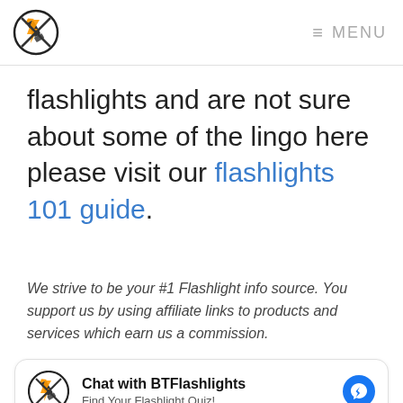BTFlashlights logo | MENU
flashlights and are not sure about some of the lingo here please visit our flashlights 101 guide.
We strive to be your #1 Flashlight info source. You support us by using affiliate links to products and services which earn us a commission.
Chat with BTFlashlights
Find Your Flashlight Quiz!
[Figure (photo): Bottom portion of an image with a blue-tinted scene, partially visible at the bottom of the page.]